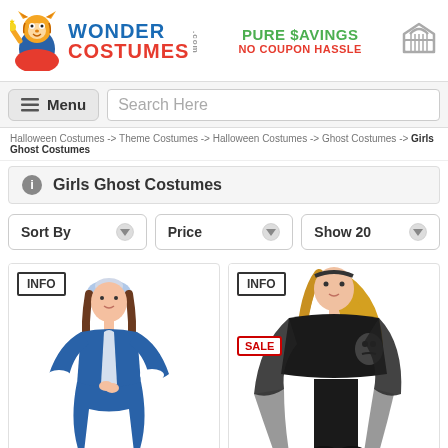[Figure (logo): Wonder Costumes logo with tiger mascot, text WONDER COSTUMES .com]
PURE $AVINGS
NO COUPON HASSLE
[Figure (illustration): Shopping cart icon]
Menu
Search Here
Halloween Costumes -> Theme Costumes -> Halloween Costumes -> Ghost Costumes -> Girls Ghost Costumes
Girls Ghost Costumes
Sort By
Price
Show 20
[Figure (photo): Girl wearing blue colonial ghost costume]
[Figure (photo): Woman wearing black Scream ghost costume with SALE badge]